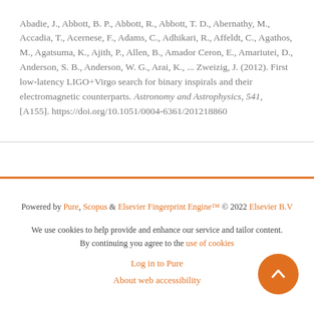Abadie, J., Abbott, B. P., Abbott, R., Abbott, T. D., Abernathy, M., Accadia, T., Acernese, F., Adams, C., Adhikari, R., Affeldt, C., Agathos, M., Agatsuma, K., Ajith, P., Allen, B., Amador Ceron, E., Amariutei, D., Anderson, S. B., Anderson, W. G., Arai, K., ... Zweizig, J. (2012). First low-latency LIGO+Virgo search for binary inspirals and their electromagnetic counterparts. Astronomy and Astrophysics, 541, [A155]. https://doi.org/10.1051/0004-6361/201218860
Powered by Pure, Scopus & Elsevier Fingerprint Engine™ © 2022 Elsevier B.V
We use cookies to help provide and enhance our service and tailor content. By continuing you agree to the use of cookies
Log in to Pure
About web accessibility